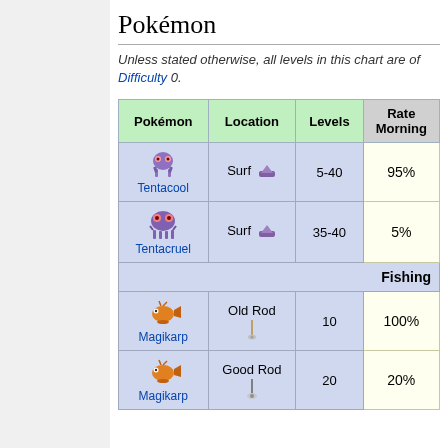Pokémon
Unless stated otherwise, all levels in this chart are of Difficulty 0.
| Pokémon | Location | Levels | Rate Morning |
| --- | --- | --- | --- |
| Tentacool | Surf | 5-40 | 95% |
| Tentacruel | Surf | 35-40 | 5% |
| Fishing |  |  |  |
| Magikarp | Old Rod | 10 | 100% |
| Magikarp | Good Rod | 20 | 20% |